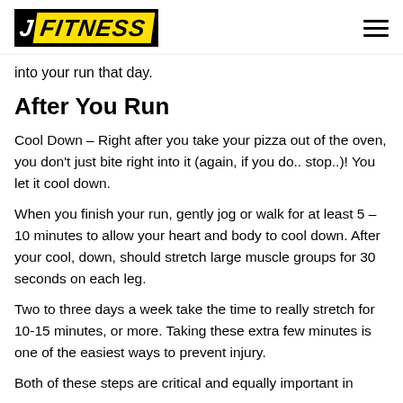JM FITNESS
into your run that day.
After You Run
Cool Down – Right after you take your pizza out of the oven, you don't just bite right into it (again, if you do.. stop..)! You let it cool down.
When you finish your run, gently jog or walk for at least 5 – 10 minutes to allow your heart and body to cool down. After your cool, down, should stretch large muscle groups for 30 seconds on each leg.
Two to three days a week take the time to really stretch for 10-15 minutes, or more. Taking these extra few minutes is one of the easiest ways to prevent injury.
Both of these steps are critical and equally important in